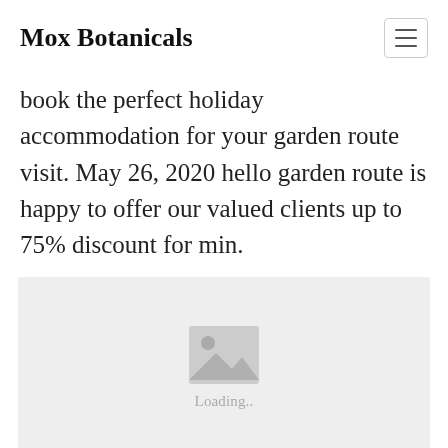Mox Botanicals
book the perfect holiday accommodation for your garden route visit. May 26, 2020 hello garden route is happy to offer our valued clients up to 75% discount for min.
[Figure (photo): Image loading placeholder with mountain/photo icon and 'Loading..' text on a light grey background]